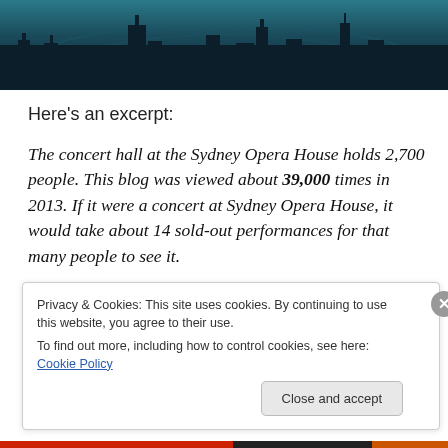[Figure (illustration): Dark teal/blue city skyline silhouette banner with buildings against a gradient background]
Here’s an excerpt:
The concert hall at the Sydney Opera House holds 2,700 people. This blog was viewed about 39,000 times in 2013. If it were a concert at Sydney Opera House, it would take about 14 sold-out performances for that many people to see it.
Privacy & Cookies: This site uses cookies. By continuing to use this website, you agree to their use.
To find out more, including how to control cookies, see here: Cookie Policy